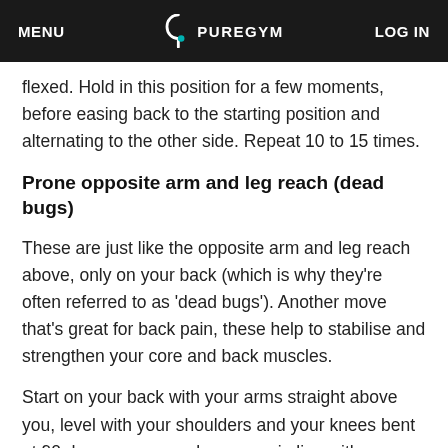MENU | PUREGYM | LOG IN
flexed. Hold in this position for a few moments, before easing back to the starting position and alternating to the other side. Repeat 10 to 15 times.
Prone opposite arm and leg reach (dead bugs)
These are just like the opposite arm and leg reach above, only on your back (which is why they're often referred to as 'dead bugs'). Another move that's great for back pain, these help to stabilise and strengthen your core and back muscles.
Start on your back with your arms straight above you, level with your shoulders and your knees bent at 90 degrees so your knees are in line with your hips. Raise your right arm over your head until it's almost touching the ground, while simultaneously